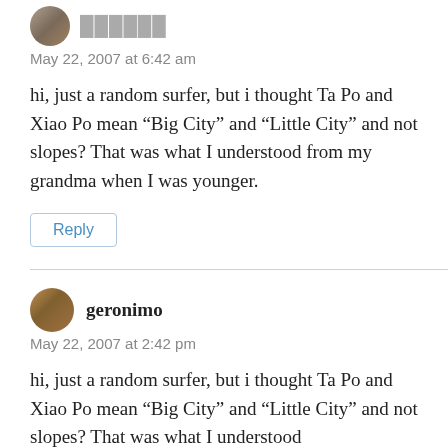[Figure (photo): Circular avatar photo of user, partially cropped at top]
May 22, 2007 at 6:42 am
hi, just a random surfer, but i thought Ta Po and Xiao Po mean “Big City” and “Little City” and not slopes? That was what I understood from my grandma when I was younger.
Reply
[Figure (photo): Circular avatar photo of user geronimo]
geronimo
May 22, 2007 at 2:42 pm
hi, just a random surfer, but i thought Ta Po and Xiao Po mean “Big City” and “Little City” and not slopes? That was what I understood